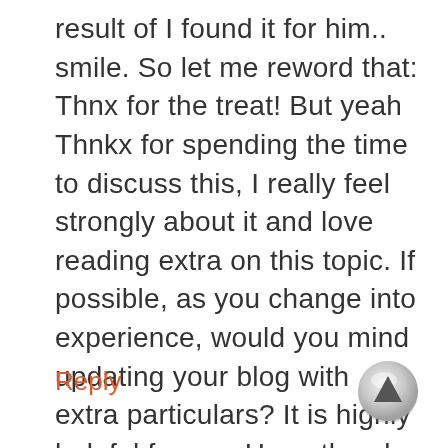result of I found it for him.. smile. So let me reword that: Thnx for the treat! But yeah Thnkx for spending the time to discuss this, I really feel strongly about it and love reading extra on this topic. If possible, as you change into experience, would you mind updating your blog with extra particulars? It is highly helpful for me. Huge thumb up for this blog publish!
Reply
[Figure (other): A circular grey scroll-to-top button with an upward-pointing triangle arrow in the center]